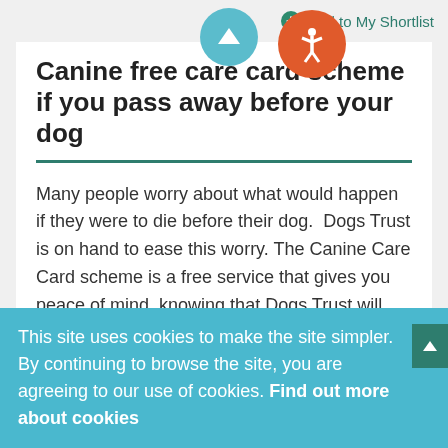Add to My Shortlist
Canine free care card scheme if you pass away before your dog
Many people worry about what would happen if they were to die before their dog.  Dogs Trust is on hand to ease this worry. The Canine Care Card scheme is a free service that gives you peace of mind, knowing that Dogs Trust will care…
01488 658391 Dogs Trust Newbury branch 03 00 304 6000
This site uses cookies to make the site simpler. By continuing to browse the site, you are agreeing to our use of cookies. Find out more about cookies